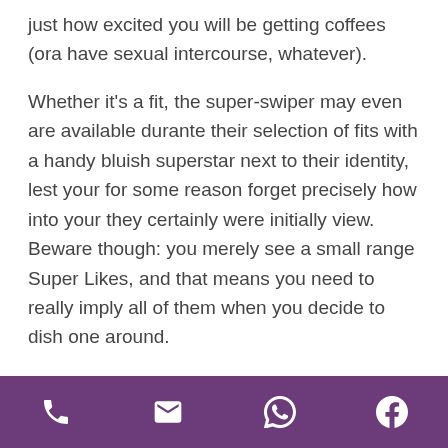just how excited you will be getting coffees (ora have sexual intercourse, whatever).
Whether it’s a fit, the super-swiper may even are available durante their selection of fits with a handy bluish superstar next to their identity, lest your for some reason forget precisely how into your they certainly were initially view. Beware though: you merely see a small range Super Likes, and that means you need to really imply all of them when you decide to dish one around.
“since they are so limited durante wide variety, a Super Like, ora a ‘swipe up’, delivers a far more strong signal, communicating a particularly higher level interesting,”
phone | email | whatsapp | facebook